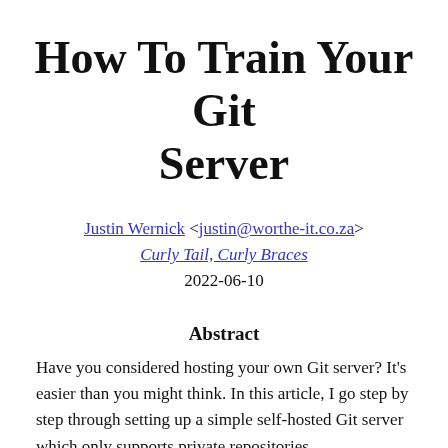How To Train Your Git Server
Justin Wernick <justin@worthe-it.co.za>
Curly Tail, Curly Braces
2022-06-10
Abstract
Have you considered hosting your own Git server? It's easier than you might think. In this article, I go step by step through setting up a simple self-hosted Git server which only supports private repositories